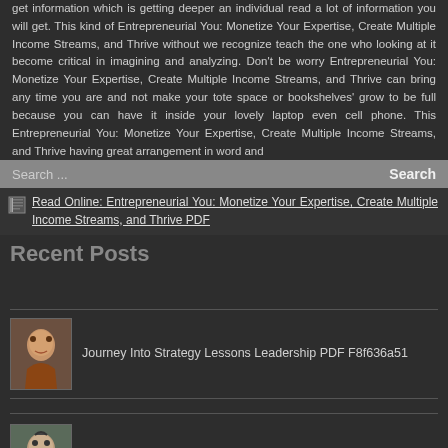get information which is getting deeper an individual read a lot of information you will get. This kind of Entrepreneurial You: Monetize Your Expertise, Create Multiple Income Streams, and Thrive without we recognize teach the one who looking at it become critical in imagining and analyzing. Don't be worry Entrepreneurial You: Monetize Your Expertise, Create Multiple Income Streams, and Thrive can bring any time you are and not make your tote space or bookshelves' grow to be full because you can have it inside your lovely laptop even cell phone. This Entrepreneurial You: Monetize Your Expertise, Create Multiple Income Streams, and Thrive having great arrangement in word and
Read Online: Entrepreneurial You: Monetize Your Expertise, Create Multiple Income Streams, and Thrive PDF
Recent Posts
Journey Into Strategy Lessons Leadership PDF F8f636a51
MotivaciB3n Motivation PDF A1f786dee